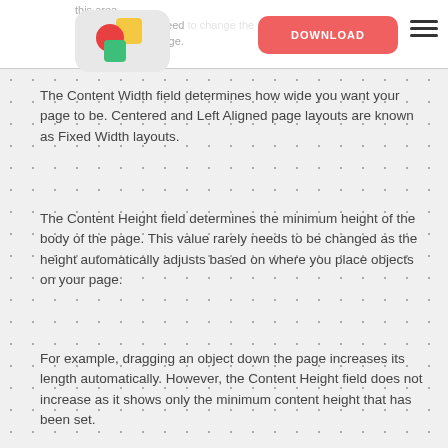this area. Usually you will not need to change the margin settings for your page.
The Content Width field determines how wide you want your page to be. Centered and Left Aligned page layouts are known as Fixed Width layouts.
The Content Height field determines the minimum height of the body of the page. This value rarely needs to be changed as the height automatically adjusts based on where you place objects on your page.
For example, dragging an object down the page increases its length automatically. However, the Content Height field does not increase as it shows only the minimum content height that has been set.
The Header Height determines the height of the